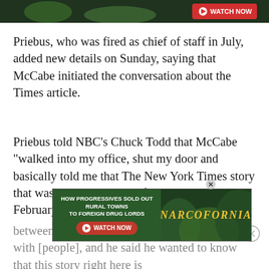[Figure (screenshot): Top portion of a video thumbnail with a WATCH NOW button overlay, showing green leafy plants]
Priebus, who was fired as chief of staff in July, added new details on Sunday, saying that McCabe initiated the conversation about the Times article.
Priebus told NBC’s Chuck Todd that McCabe “walked into my office, shut my door and basically told me that The New York Times story that was in the paper, that first came out in February that said there are constant contacts
between the Trump campaign and the Russians, with [people], and he said he wanted to know that this story right here is
[Figure (screenshot): Advertisement overlay: HOW PROGRESSIVES SOLD OUT RURAL TOWNS TO FOREIGN DRUG LORDS - NARCOFORNIA - WATCH NOW]